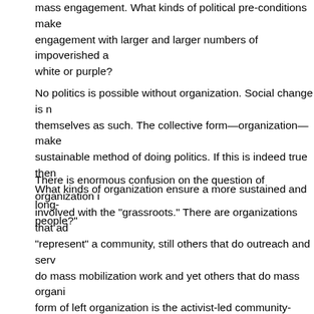mass engagement. What kinds of political pre-conditions make engagement with larger and larger numbers of impoverished a white or purple?
No politics is possible without organization. Social change is n themselves as such. The collective form—organization—make sustainable method of doing politics. If this is indeed true then What kinds of organization ensure a more sustained and long- people?"
There is enormous confusion on the question of organization i involved with the "grassroots." There are organizations that ad "represent" a community, still others that do outreach and serv do mass mobilization work and yet others that do mass organi form of left organization is the activist-led community-based or is, to mark it skeletally, one that involves a community, a handf miniscule membership comprising primarily of volunteers from community. This is what I call a risk-free organization. It can re their involvement in advocacy cases and some mobilization giv going on within the community. The cases give them the where community and the problems facing for raising on that establis